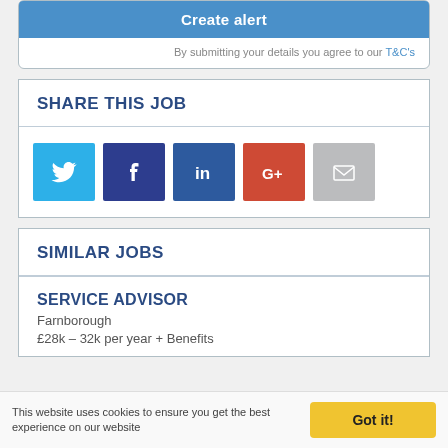Create alert
By submitting your details you agree to our T&C's
SHARE THIS JOB
[Figure (infographic): Social share buttons: Twitter (light blue), Facebook (dark blue), LinkedIn (medium blue), Google+ (red), Email (grey)]
SIMILAR JOBS
SERVICE ADVISOR
Farnborough
£28k – 32k per year + Benefits
This website uses cookies to ensure you get the best experience on our website